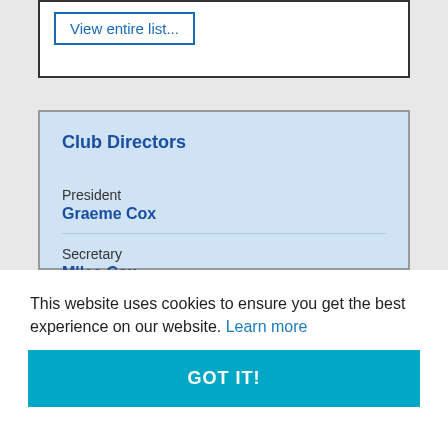View entire list...
Club Directors
President
Graeme Cox
Secretary
Mllee Cox
This website uses cookies to ensure you get the best experience on our website. Learn more
GOT IT!